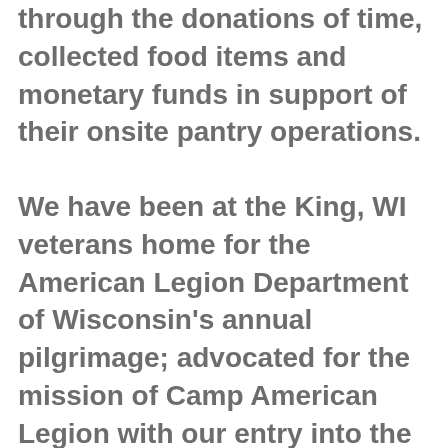through the donations of time, collected food items and monetary funds in support of their onsite pantry operations.
We have been at the King, WI veterans home for the American Legion Department of Wisconsin's annual pilgrimage; advocated for the mission of Camp American Legion with our entry into the annual Appleton, WI Flag Day Parade; participated in color guard duties; hosted the first annual Waushara County Veterans Picnic; participated in the setting of flagpoles at two local cemeteries and many other activities that have earned the respect of many throughout our statewide veteran's community. All of the people we will mention to be...